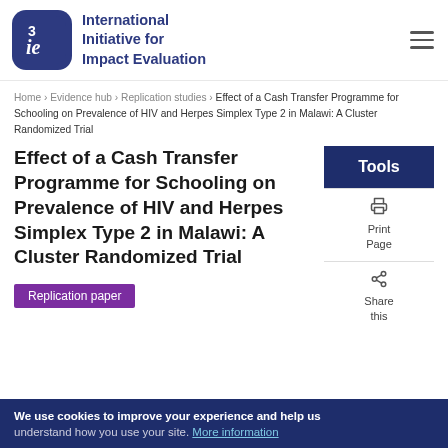[Figure (logo): 3ie International Initiative for Impact Evaluation logo — blue rounded square with '3ie' text, followed by org name in blue]
Home › Evidence hub › Replication studies › Effect of a Cash Transfer Programme for Schooling on Prevalence of HIV and Herpes Simplex Type 2 in Malawi: A Cluster Randomized Trial
Effect of a Cash Transfer Programme for Schooling on Prevalence of HIV and Herpes Simplex Type 2 in Malawi: A Cluster Randomized Trial
Replication paper
Tools
Print Page
Share this
We use cookies to improve your experience and help us understand how you use your site. More information